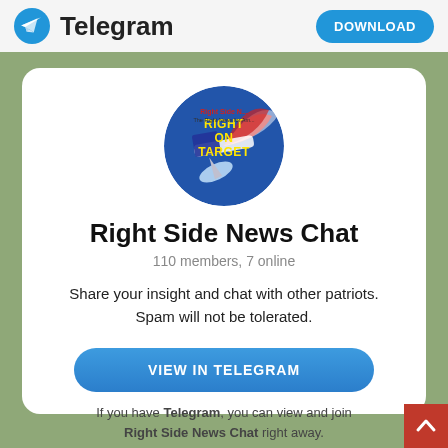Telegram  DOWNLOAD
[Figure (logo): Right Side News 'Right On Target' circular channel logo with rocket and American flag motif]
Right Side News Chat
110 members, 7 online
Share your insight and chat with other patriots. Spam will not be tolerated.
VIEW IN TELEGRAM
If you have Telegram, you can view and join Right Side News Chat right away.